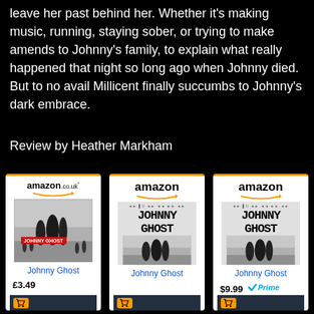leave her past behind her. Whether it's making music, running, staying sober, or trying to make amends to Johnny's family, to explain what really happened that night so long ago when Johnny died. But to no avail Millicent finally succumbs to Johnny's dark embrace.
Review by Heather Markham
[Figure (screenshot): Three Amazon product listing cards for 'Johnny Ghost': amazon.co.uk (£3.49), amazon (no price shown), amazon ($9.99 Prime)]
Johnny Ghost — £3.49 (amazon.co.uk)
Johnny Ghost (amazon)
Johnny Ghost — $9.99 Prime (amazon)